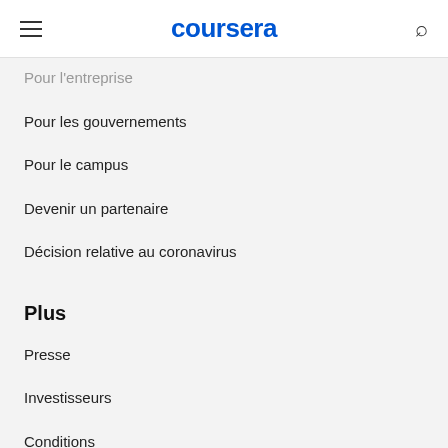coursera
Pour l'entreprise
Pour les gouvernements
Pour le campus
Devenir un partenaire
Décision relative au coronavirus
Plus
Presse
Investisseurs
Conditions
Confidentialité
Aide
Accessibilité